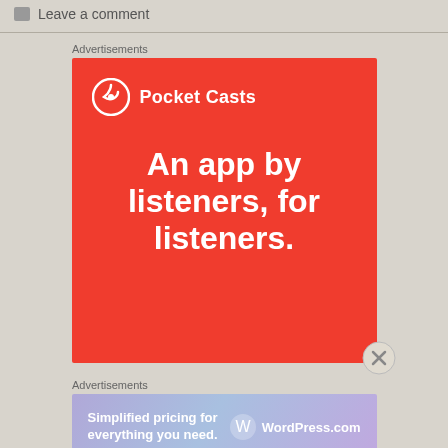Leave a comment
Advertisements
[Figure (illustration): Pocket Casts advertisement on red background with logo and text: An app by listeners, for listeners.]
Advertisements
[Figure (illustration): WordPress.com advertisement with gradient purple-blue background: Simplified pricing for everything you need. WordPress.com]